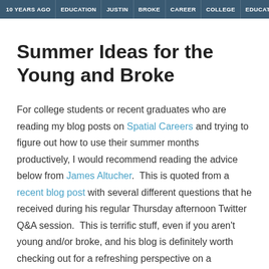10 YEARS AGO | EDUCATION | JUSTIN | BROKE | CAREER | COLLEGE | EDUCATION
Summer Ideas for the Young and Broke
For college students or recent graduates who are reading my blog posts on Spatial Careers and trying to figure out how to use their summer months productively, I would recommend reading the advice below from James Altucher.  This is quoted from a recent blog post with several different questions that he received during his regular Thursday afternoon Twitter Q&A session.  This is terrific stuff, even if you aren't young and/or broke, and his blog is definitely worth checking out for a refreshing perspective on a